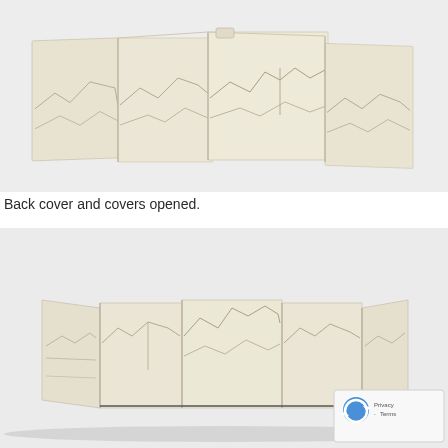[Figure (photo): Photo of a cream/off-white folded book or accordion structure standing open, showing the back cover and opened covers from the side. The panels have faint line drawings of mountain silhouettes. White background.]
Back cover and covers opened.
[Figure (photo): Photo of the same cream/off-white accordion or folded book structure opened flat, viewed from a slightly elevated front angle. Multiple folded panels visible with faint mountain line drawings. White background. reCAPTCHA badge visible in bottom right corner.]